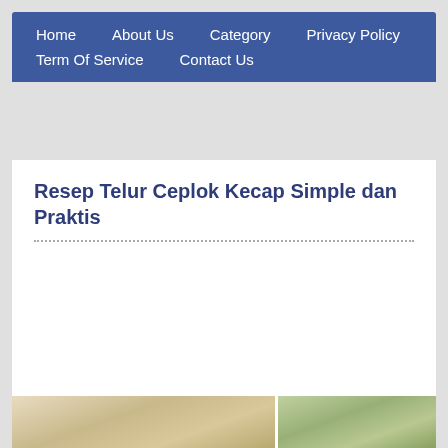Home  About Us  Category  Privacy Policy  Term Of Service  Contact Us
Resep Telur Ceplok Kecap Simple dan Praktis
[Figure (photo): Two food photos at the bottom of the page showing Indonesian dishes]